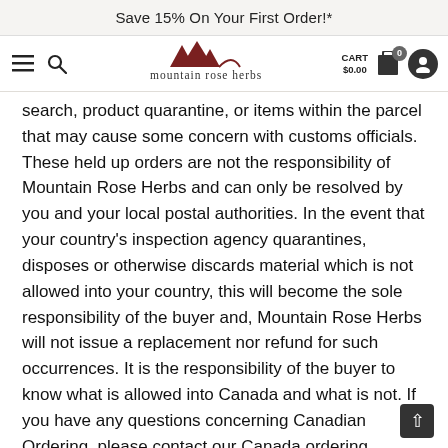Save 15% On Your First Order!*
[Figure (logo): Mountain Rose Herbs logo with mountain peak illustration and text 'mountain rose herbs']
search, product quarantine, or items within the parcel that may cause some concern with customs officials. These held up orders are not the responsibility of Mountain Rose Herbs and can only be resolved by you and your local postal authorities. In the event that your country's inspection agency quarantines, disposes or otherwise discards material which is not allowed into your country, this will become the sole responsibility of the buyer and, Mountain Rose Herbs will not issue a replacement nor refund for such occurrences. It is the responsibility of the buyer to know what is allowed into Canada and what is not. If you have any questions concerning Canadian Ordering, please contact our Canada ordering department at international@mountainroseherbs.com.
Any questions regarding Canadian Customs clearance of